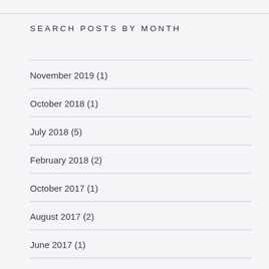SEARCH POSTS BY MONTH
November 2019 (1)
October 2018 (1)
July 2018 (5)
February 2018 (2)
October 2017 (1)
August 2017 (2)
June 2017 (1)
July 2016 (2)
May 2016 (1)